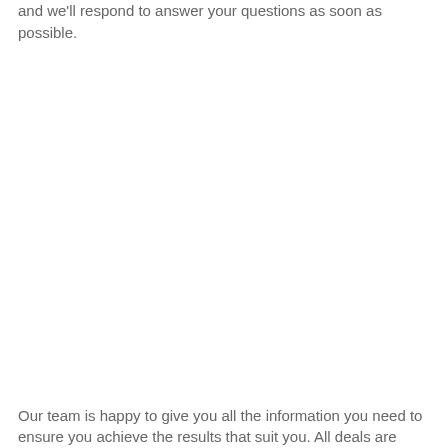and we'll respond to answer your questions as soon as possible.
Our team is happy to give you all the information you need to ensure you achieve the results that suit you. All deals are